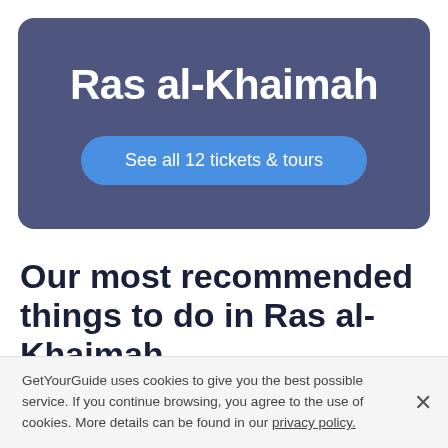Ras al-Khaimah
See all 12 tickets & tours
Our most recommended things to do in Ras al-Khaimah
GetYourGuide uses cookies to give you the best possible service. If you continue browsing, you agree to the use of cookies. More details can be found in our privacy policy.